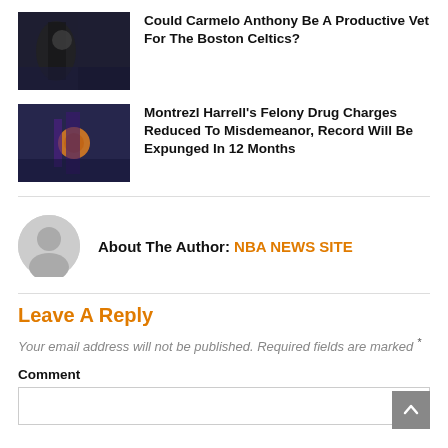Could Carmelo Anthony Be A Productive Vet For The Boston Celtics?
Montrezl Harrell's Felony Drug Charges Reduced To Misdemeanor, Record Will Be Expunged In 12 Months
About The Author: NBA NEWS SITE
Leave A Reply
Your email address will not be published. Required fields are marked *
Comment